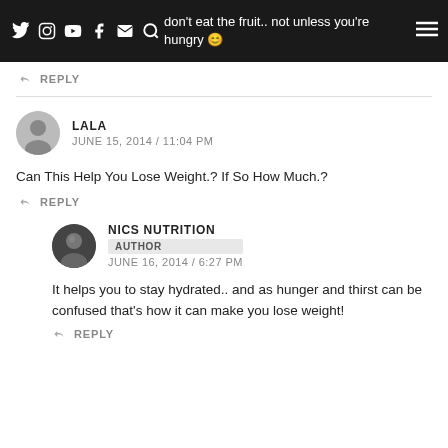Navigation bar with social icons and partial text: don't eat the fruit.. not unless you're hungry
REPLY
LALA
JUNE 15, 2014 / 11:04 PM
Can This Help You Lose Weight.? If So How Much.?
REPLY
NICS NUTRITION
AUTHOR
JUNE 16, 2014 / 6:27 PM
It helps you to stay hydrated.. and as hunger and thirst can be confused that's how it can make you lose weight!
REPLY